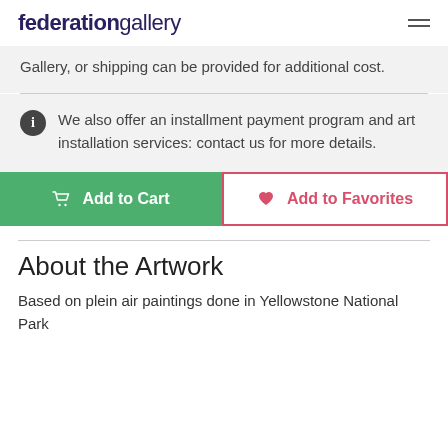federationgallery
Gallery, or shipping can be provided for additional cost.
We also offer an installment payment program and art installation services: contact us for more details.
Add to Cart
Add to Favorites
About the Artwork
Based on plein air paintings done in Yellowstone National Park